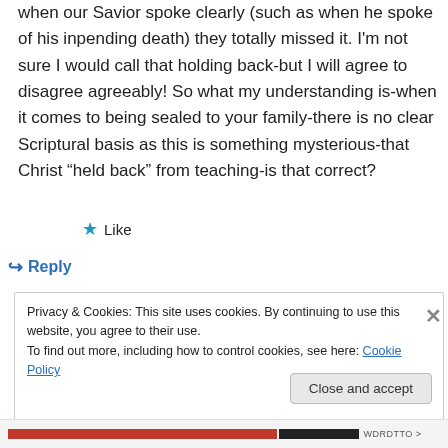when our Savior spoke clearly (such as when he spoke of his inpending death) they totally missed it. I'm not sure I would call that holding back-but I will agree to disagree agreeably! So what my understanding is-when it comes to being sealed to your family-there is no clear Scriptural basis as this is something mysterious-that Christ “held back” from teaching-is that correct?
★ Like
↪ Reply
Privacy & Cookies: This site uses cookies. By continuing to use this website, you agree to their use.
To find out more, including how to control cookies, see here: Cookie Policy
Close and accept